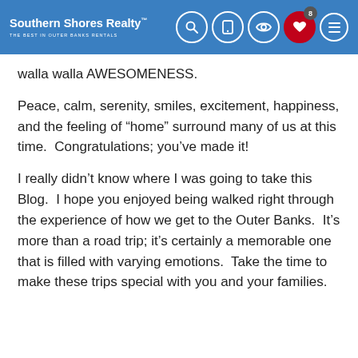Southern Shores Realty — THE BEST IN OUTER BANKS RENTALS
walla walla AWESOMENESS.
Peace, calm, serenity, smiles, excitement, happiness, and the feeling of “home” surround many of us at this time.  Congratulations; you’ve made it!
I really didn’t know where I was going to take this Blog.  I hope you enjoyed being walked right through the experience of how we get to the Outer Banks.  It’s more than a road trip; it’s certainly a memorable one that is filled with varying emotions.  Take the time to make these trips special with you and your families.